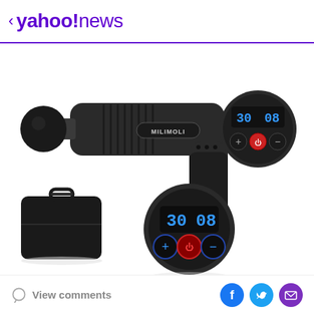< yahoo!news
[Figure (photo): A MILIMOLI brand percussion massage gun in dark gray/black color with a spherical massage head attachment on the left, digital LED display panel showing '30' and '08' with +/- and power buttons on the right face. Below the main gun are two accessories: a black carrying case on the left and a close-up of the circular LED control panel in the center showing '30 08' with + power - buttons.]
View comments
[Figure (logo): Social media share icons: Facebook (blue circle with white f), Twitter (blue circle with white bird), Email (purple circle with white envelope)]